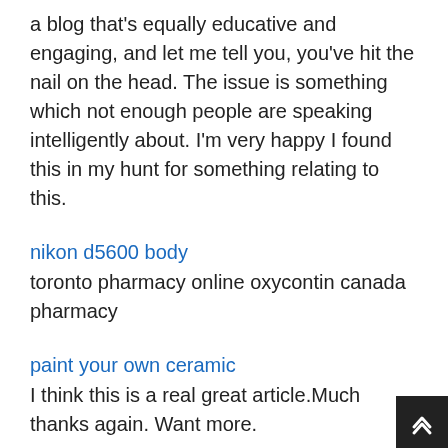a blog that's equally educative and engaging, and let me tell you, you've hit the nail on the head. The issue is something which not enough people are speaking intelligently about. I'm very happy I found this in my hunt for something relating to this.
nikon d5600 body
toronto pharmacy online oxycontin canada pharmacy
paint your own ceramic
I think this is a real great article.Much thanks again. Want more.
imp source
This site was… how do I say it? Relevant!! Finally I've found something that helped me. Thank you.